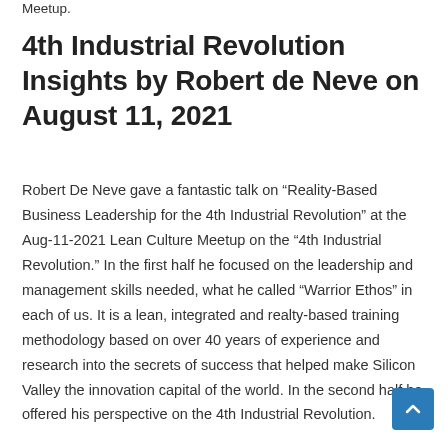Meetup.
4th Industrial Revolution Insights by Robert de Neve on August 11, 2021
Robert De Neve gave a fantastic talk on “Reality-Based Business Leadership for the 4th Industrial Revolution” at the Aug-11-2021 Lean Culture Meetup on the “4th Industrial Revolution.” In the first half he focused on the leadership and management skills needed, what he called “Warrior Ethos” in each of us. It is a lean, integrated and realty-based training methodology based on over 40 years of experience and research into the secrets of success that helped make Silicon Valley the innovation capital of the world. In the second half he offered his perspective on the 4th Industrial Revolution.